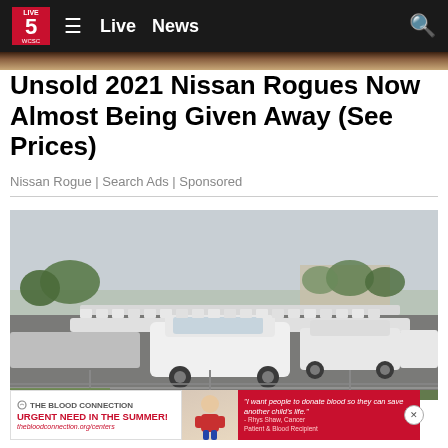Live 5 WCSC — Live  News
Unsold 2021 Nissan Rogues Now Almost Being Given Away (See Prices)
Nissan Rogue | Search Ads | Sponsored
[Figure (photo): Large parking lot filled with rows of white SUVs/cars viewed from ground level behind a chain-link fence, overcast sky, trees in background]
[Figure (photo): Banner advertisement for The Blood Connection: URGENT NEED IN THE SUMMER! thebloodconnection.org/centers — with a child's photo and quote: 'I want people to donate blood so they can save another child's life.' — Rhys Shaw, Cancer Patient & Blood Recipient]
Ashbu… host